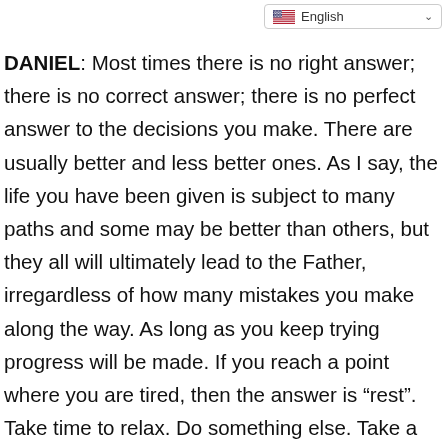English
DANIEL: Most times there is no right answer; there is no correct answer; there is no perfect answer to the decisions you make. There are usually better and less better ones. As I say, the life you have been given is subject to many paths and some may be better than others, but they all will ultimately lead to the Father, irregardless of how many mistakes you make along the way. As long as you keep trying progress will be made. If you reach a point where you are tired, then the answer is “rest”. Take time to relax. Do something else. Take a vacation. Then when you are rejuvenated, pick up your life where you left off, rejuvenated, reinvigorated and ready to take the bumps that life has in store for you. Does this answer?